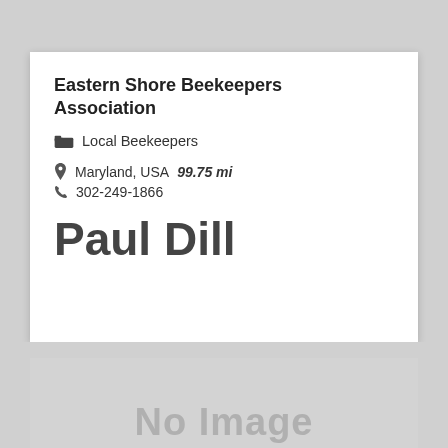Eastern Shore Beekeepers Association
Local Beekeepers
Maryland, USA  99.75 mi
302-249-1866
Paul Dill
[Figure (illustration): Gray placeholder box with 'No Image' text in light gray]